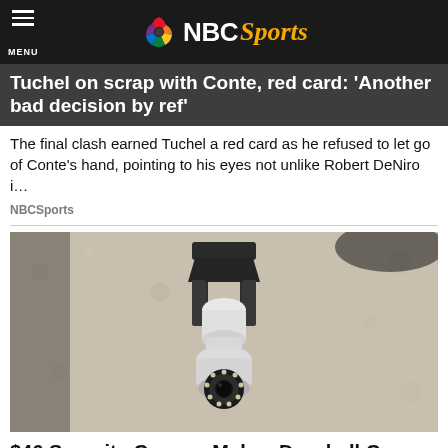NBC Sports
Tuchel on scrap with Conte, red card: 'Another bad decision by ref'
The final clash earned Tuchel a red card as he refused to let go of Conte's hand, pointing to his eyes not unlike Robert DeNiro i…
NBCSports
[Figure (photo): A security camera mounted on an outdoor wall lantern fixture, white dome camera with ring of LED lights at bottom, attached to a dark metal lantern bracket on a textured stone/stucco wall.]
$46 Security Camera Makes Doorbell Cams Seem Ancient